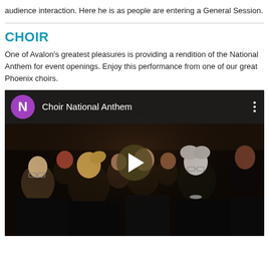audience interaction. Here he is as people are entering a General Session.
CHOIR
One of Avalon’s greatest pleasures is providing a rendition of the National Anthem for event openings. Enjoy this performance from one of our great Phoenix choirs.
[Figure (screenshot): YouTube video embed showing choir members singing, with a purple 'N' avatar icon, title 'Choir National Anthem', a three-dot menu icon, and a play button overlay on the thumbnail of choir performers in dark clothing.]